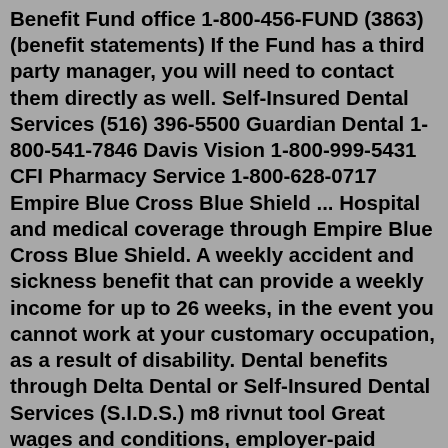Benefit Fund office 1-800-456-FUND (3863) (benefit statements) If the Fund has a third party manager, you will need to contact them directly as well. Self-Insured Dental Services (516) 396-5500 Guardian Dental 1-800-541-7846 Davis Vision 1-800-999-5431 CFI Pharmacy Service 1-800-628-0717 Empire Blue Cross Blue Shield ... Hospital and medical coverage through Empire Blue Cross Blue Shield. A weekly accident and sickness benefit that can provide a weekly income for up to 26 weeks, in the event you cannot work at your customary occupation, as a result of disability. Dental benefits through Delta Dental or Self-Insured Dental Services (S.I.D.S.) m8 rivnut tool Great wages and conditions, employer-paid benefits, vested Pension after 5 years IATSE Local 871 4011 W The IATSE has maintained and enhanced its position in the vanguard of the entertainment industry through effective rank and file empowerment, political engagement, and our dedication to grass roots organizing Uk Combo List throughout the United States and thumb throttle